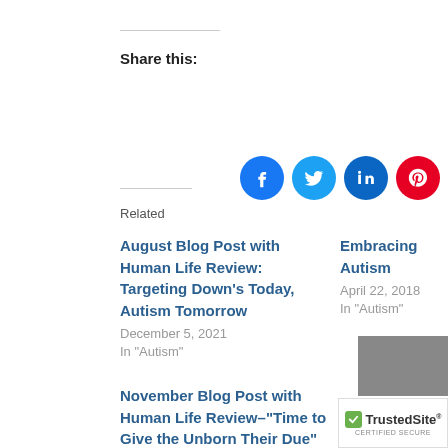Share this:
[Figure (infographic): Social sharing icons: Facebook (blue), Twitter (light blue), LinkedIn (dark blue), Pinterest (red), Email (grey), Print (grey)]
Related
August Blog Post with Human Life Review: Targeting Down's Today, Autism Tomorrow
December 5, 2021
In "Autism"
Embracing Autism
April 22, 2018
In "Autism"
November Blog Post with Human Life Review–“Time to Give the Unborn Their Due”
December 6, 2021
Similar post